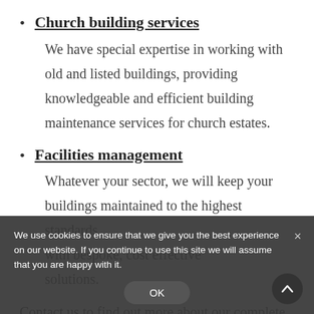Church building services
We have special expertise in working with old and listed buildings, providing knowledgeable and efficient building maintenance services for church estates.
Facilities management
Whatever your sector, we will keep your buildings maintained to the highest standards with bespoke, cost effective solutions.
Contact us to find out more about our complete